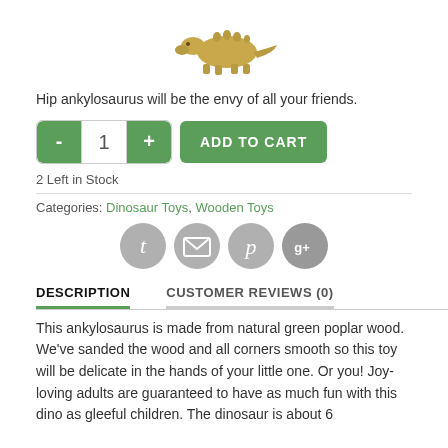[Figure (photo): Small wooden ankylosaurus dinosaur toy figurine, brownish-gold color, viewed from the side/top]
Hip ankylosaurus will be the envy of all your friends.
2 Left in Stock
Categories: Dinosaur Toys, Wooden Toys
[Figure (other): Social sharing icons: Twitter, Email, Pinterest, Google+]
DESCRIPTION
CUSTOMER REVIEWS (0)
This ankylosaurus is made from natural green poplar wood. We've sanded the wood and all corners smooth so this toy will be delicate in the hands of your little one. Or you! Joy-loving adults are guaranteed to have as much fun with this dino as gleeful children. The dinosaur is about 6